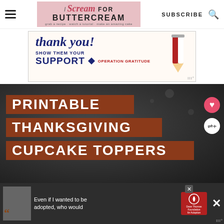I Scream for Buttercream — grab a recipe · watch a tutorial · make an amazing cake | SUBSCRIBE
[Figure (screenshot): Advertisement banner: 'thank you! SHOW THEM YOUR SUPPORT — OPERATION GRATITUDE' with pencil graphic in red/white/blue]
[Figure (screenshot): Blog post hero image with dark bokeh background and orange/brown title boxes reading: PRINTABLE THANKSGIVING CUPCAKE TOPPERS, with heart and share buttons on right side]
[Figure (screenshot): Bottom advertisement banner: Dave Thomas Foundation for Adoption — 'Even if I wanted to be adopted, who would' with female photo, quotation mark, and foundation logo]